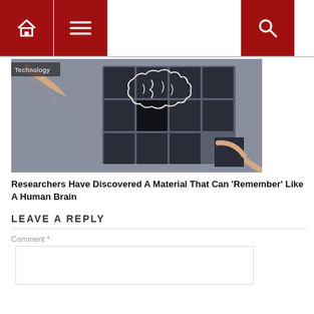Navigation bar with home, menu, and search icons
[Figure (photo): Hands arranging black puzzle blocks with a chalk-drawn brain illustration on them, on a grey background. Label 'Technology' overlaid top-left.]
Researchers Have Discovered A Material That Can 'Remember' Like A Human Brain
LEAVE A REPLY
Comment *
[Figure (other): Empty comment text area input box]